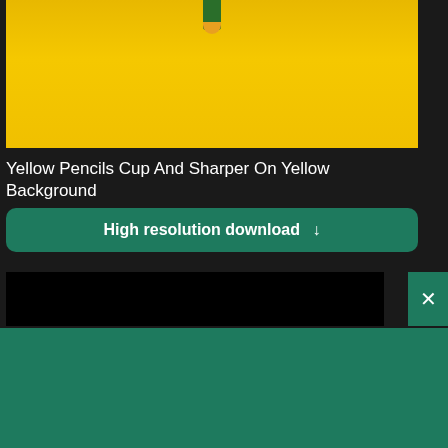[Figure (photo): Partial photo of yellow pencils cup and sharpener on a yellow background, cropped showing mostly yellow surface with pencil tip visible at top]
Yellow Pencils Cup And Sharper On Yellow Background
High resolution download ↓
[Figure (screenshot): Black bar UI element with close X button in teal]
[Figure (logo): Shopify logo with shopping bag icon and italic text 'shopify']
Need an online store for your business?
Start free trial